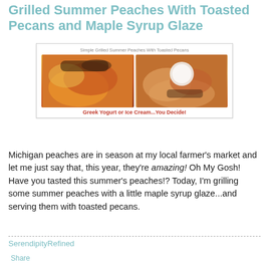Grilled Summer Peaches With Toasted Pecans and Maple Syrup Glaze
[Figure (photo): Two photos side by side of grilled summer peaches with toasted pecans, served with Greek yogurt or ice cream. Top label reads 'Simple Grilled Summer Peaches With Toasted Pecans'. Bottom label reads 'Greek Yogurt or Ice Cream...You Decide!']
Michigan peaches are in season at my local farmer's market and let me just say that, this year, they're amazing! Oh My Gosh! Have you tasted this summer's peaches!? Today, I'm grilling some summer peaches with a little maple syrup glaze...and serving them with toasted pecans.
SerendipityRefined
Share